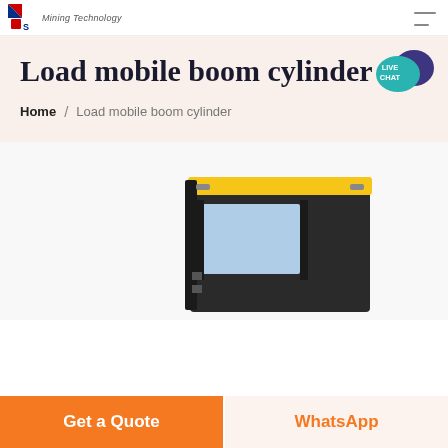Mining Technology
Load mobile boom cylinder
Home / Load mobile boom cylinder
[Figure (photo): Yellow construction/mining machine cabin visible from the front, partially cropped at bottom of page]
Get a Quote
WhatsApp